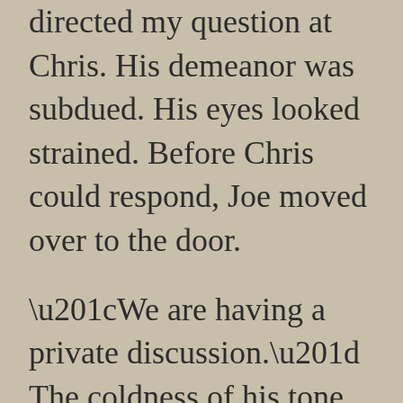What's going on? I expressly directed my question at Chris. His demeanor was subdued. His eyes looked strained. Before Chris could respond, Joe moved over to the door.

“We are having a private discussion.” The coldness of his tone cut through the air as he firmly shut the door against my body with my hand still on the